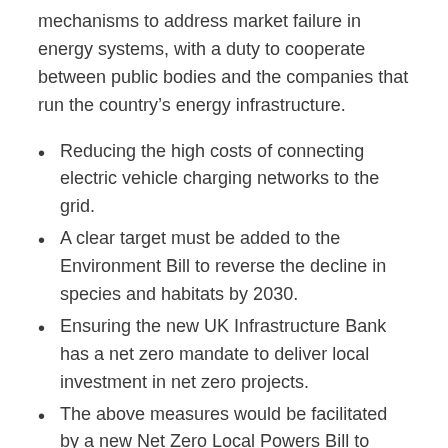mechanisms to address market failure in energy systems, with a duty to cooperate between public bodies and the companies that run the country's energy infrastructure.
Reducing the high costs of connecting electric vehicle charging networks to the grid.
A clear target must be added to the Environment Bill to reverse the decline in species and habitats by 2030.
Ensuring the new UK Infrastructure Bank has a net zero mandate to deliver local investment in net zero projects.
The above measures would be facilitated by a new Net Zero Local Powers Bill to cement new powers for local and regional authorities alongside new reporting requirements on emissions.
The signatories included 32 Mayors and Leaders from major cities and urban areas across the UK, including Bristol, Cardiff, Glasgow, Greater Manchester, Leeds,